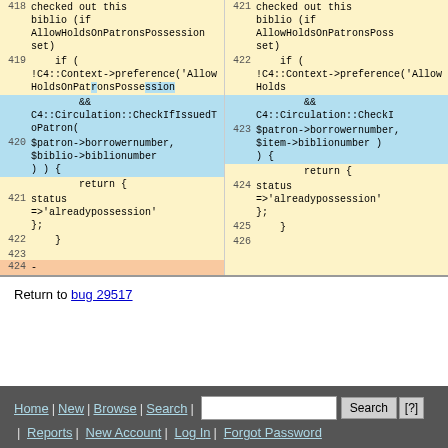[Figure (screenshot): Code diff view showing two columns of code with line numbers 418-424 on the left and 421-426 on the right. Code is Perl/library code involving AllowHoldsOnPatronsPossessions, C4::Context->preference, C4::Circulation::CheckIfIssuedToPatron, patron borrowernumber, biblio/item biblionumber, and return status alreadypossession. Blue highlighted sections show changed lines, orange section shows removed line 424.]
Return to bug 29517
Home | New | Browse | Search | [search box] Search [?] | Reports | New Account | Log In | Forgot Password